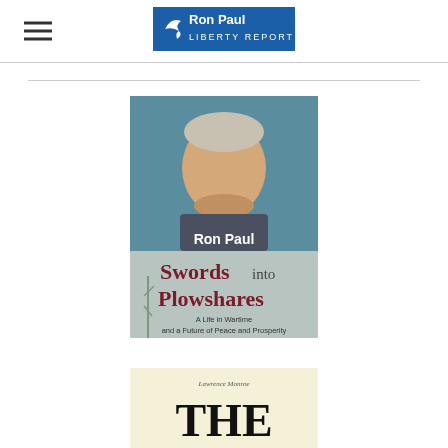[Figure (logo): Ron Paul Liberty Report logo with dove icon, blue background, white text]
[Figure (photo): Book cover: Ron Paul 'Swords into Plowshares: A Life in Wartime and a Future of Peace and Prosperity'. Shows photo of Ron Paul smiling, with dark red/maroon title text on grey/green background.]
[Figure (photo): Partial view of a second book cover with yellow/cream background, showing large text 'THE']